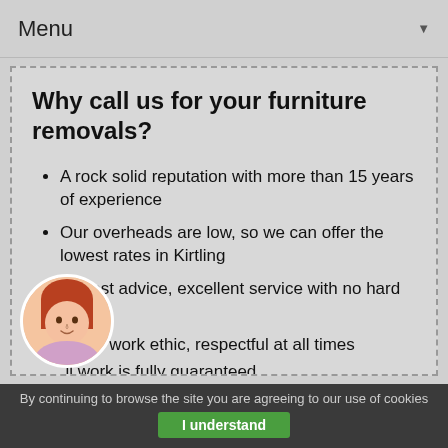Menu
Why call us for your furniture removals?
A rock solid reputation with more than 15 years of experience
Our overheads are low, so we can offer the lowest rates in Kirtling
Honest advice, excellent service with no hard selling
Clean work ethic, respectful at all times
All work is fully guaranteed
Great customer service from a local
By continuing to browse the site you are agreeing to our use of cookies  I understand